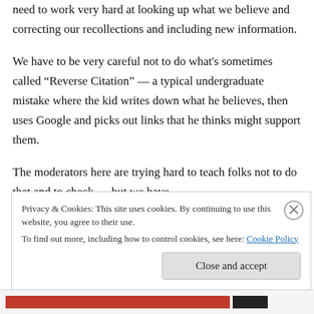need to work very hard at looking up what we believe and correcting our recollections and including new information.
We have to be very careful not to do what's sometimes called “Reverse Citation” — a typical undergraduate mistake where the kid writes down what he believes, then uses Google and picks out links that he thinks might support them.
The moderators here are trying hard to teach folks not to do that and to check — but we have
Privacy & Cookies: This site uses cookies. By continuing to use this website, you agree to their use.
To find out more, including how to control cookies, see here: Cookie Policy